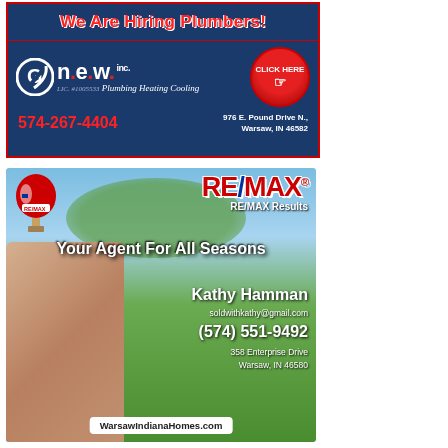[Figure (advertisement): G.n.e.w. Inc. Plumbing Heating Cooling advertisement. Hiring Plumbers. Phone: 574-267-4404. Address: 976 E. Pound Drive N., Warsaw, IN 46582. Click Here button.]
[Figure (advertisement): RE/MAX Results real estate advertisement. Agent: Kathy Hamman. Tagline: Your Agent For All Seasons. Email: soldwithkathy@gmail.com. Phone: (574) 551-9492. Address: 358 Enterprise Drive, Warsaw, IN 46580. Website: WarsawIndianaHomes.com.]